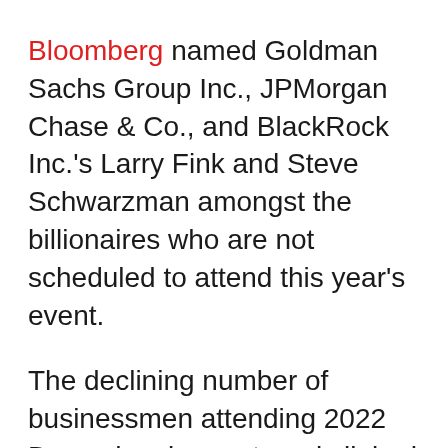Bloomberg named Goldman Sachs Group Inc., JPMorgan Chase & Co., and BlackRock Inc.'s Larry Fink and Steve Schwarzman amongst the billionaires who are not scheduled to attend this year's event.
The declining number of businessmen attending 2022 Davos has been strongly linked to amounting fears of an economic recession in recent weeks, especially after Wall Street slid into a bear market territory last week.
This year's event is also expected to draw notable takeaways from the COVID19 pandemic and the many crises it triggered